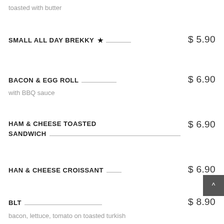toasted with butter
SMALL ALL DAY BREKKY ★  $ 5.90
BACON & EGG ROLL  $ 6.90
with BBQ sauce
HAM & CHEESE TOASTED SANDWICH  $ 6.90
HAN & CHEESE CROISSANT  $ 6.90
BLT  $ 8.90
bacon, lettuce, tomato on toasted turkish